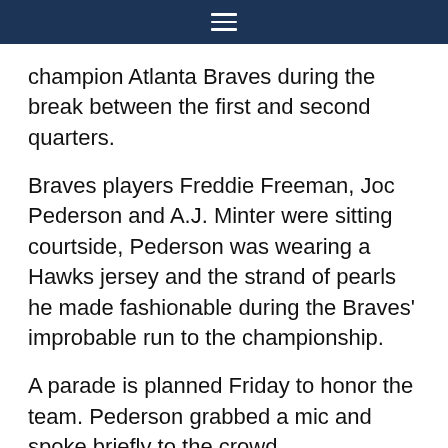≡
champion Atlanta Braves during the break between the first and second quarters.
Braves players Freddie Freeman, Joc Pederson and A.J. Minter were sitting courtside, Pederson was wearing a Hawks jersey and the strand of pearls he made fashionable during the Braves' improbable run to the championship.
A parade is planned Friday to honor the team. Pederson grabbed a mic and spoke briefly to the crowd.
“We love you guys,” he said. “We can’t wait to see you tomorrow at the parade. Go Hawks!”
UP NEXT
Jazz: Travel to Miami to face the Heat on Saturday